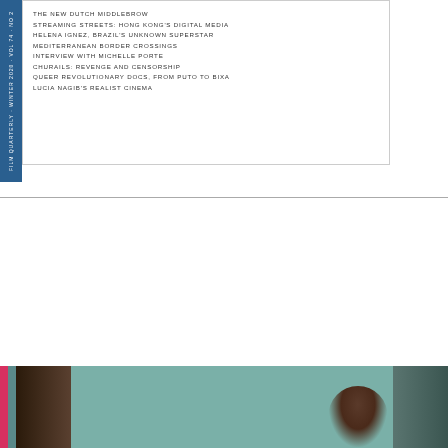THE NEW DUTCH MIDDLEBROW
STREAMING STREETS: HONG KONG'S DIGITAL MEDIA
HELENA IGNEZ, BRAZIL'S UNKNOWN SUPERSTAR
MEDITERRANEAN BORDER CROSSINGS
INTERVIEW WITH MICHELLE PORTE
CHURAILS: REVENGE AND CENSORSHIP
QUEER REVOLUTIONARY DOCS, FROM PUTO TO BIXA
LUCIA NAGIB'S REALIST CINEMA
Film Quarterly
Winter 2020   Volume 74   Number 2
[Figure (photo): Photo of a woman standing in a room with teal/blue-green walls and a door, wearing a floral dress]